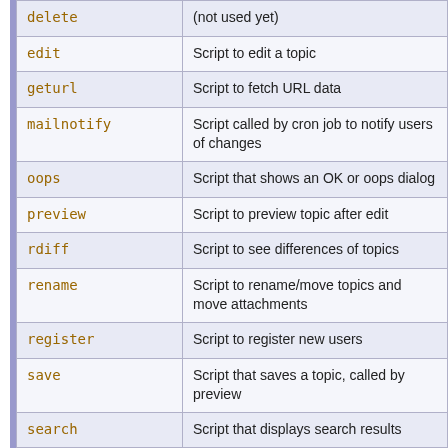| Command | Description |
| --- | --- |
| delete | (not used yet) |
| edit | Script to edit a topic |
| geturl | Script to fetch URL data |
| mailnotify | Script called by cron job to notify users of changes |
| oops | Script that shows an OK or oops dialog |
| preview | Script to preview topic after edit |
| rdiff | Script to see differences of topics |
| rename | Script to rename/move topics and move attachments |
| register | Script to register new users |
| save | Script that saves a topic, called by preview |
| search | Script that displays search results |
| statistics | Script to create statistics topic |
| testenv | Script to test CGI environment variables |
| upload | Script that does file upload (FileAttachment) |